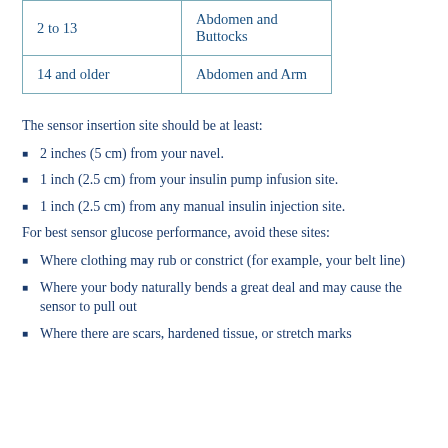| Age | Insertion Site |
| --- | --- |
| 2 to 13 | Abdomen and Buttocks |
| 14 and older | Abdomen and Arm |
The sensor insertion site should be at least:
2 inches (5 cm) from your navel.
1 inch (2.5 cm) from your insulin pump infusion site.
1 inch (2.5 cm) from any manual insulin injection site.
For best sensor glucose performance, avoid these sites:
Where clothing may rub or constrict (for example, your belt line)
Where your body naturally bends a great deal and may cause the sensor to pull out
Where there are scars, hardened tissue, or stretch marks